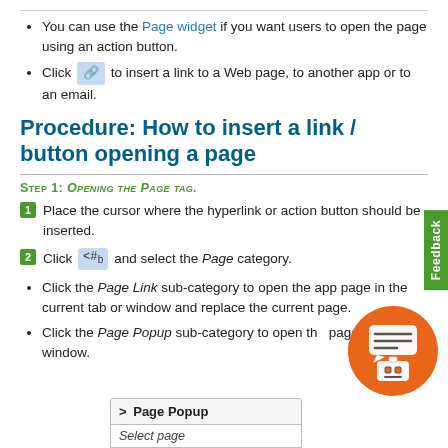You can use the Page widget if you want users to open the page using an action button.
Click [icon] to insert a link to a Web page, to another app or to an email.
Procedure: How to insert a link / button opening a page
Step 1: Opening the Page tag.
1. Place the cursor where the hyperlink or action button should be inserted.
2. Click [icon] and select the Page category.
Click the Page Link sub-category to open the app page in the current tab or window and replace the current page.
Click the Page Popup sub-category to open the page in a popup window.
[Figure (screenshot): Page Popup dropdown menu showing 'Select page' option]